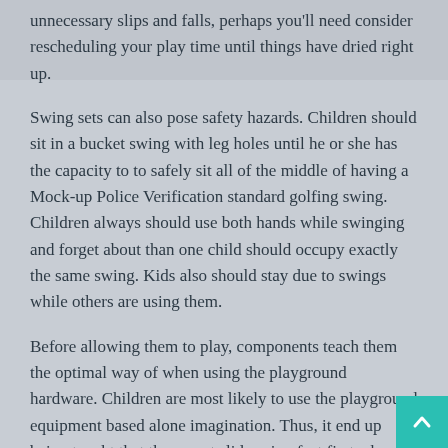unnecessary slips and falls, perhaps you'll need consider rescheduling your play time until things have dried right up.
Swing sets can also pose safety hazards. Children should sit in a bucket swing with leg holes until he or she has the capacity to to safely sit all of the middle of having a Mock-up Police Verification standard golfing swing. Children always should use both hands while swinging and forget about than one child should occupy exactly the same swing. Kids also should stay due to swings while others are using them.
Before allowing them to play, components teach them the optimal way of when using the playground hardware. Children are most likely to use the playground equipment based alone imagination. Thus, it end up being taught that they must slide using feet first when playing on slides, and they should not climb